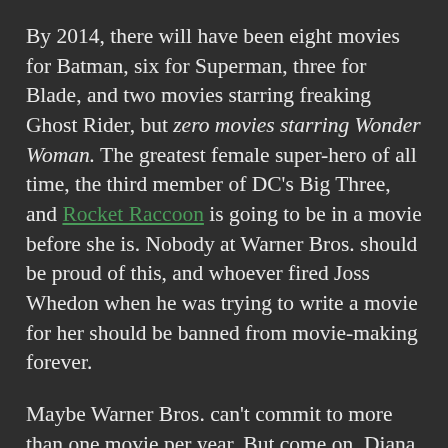By 2014, there will have been eight movies for Batman, six for Superman, three for Blade, and two movies starring freaking Ghost Rider, but zero movies starring Wonder Woman. The greatest female super-hero of all time, the third member of DC's Big Three, and Rocket Raccoon is going to be in a movie before she is. Nobody at Warner Bros. should be proud of this, and whoever fired Joss Whedon when he was trying to write a movie for her should be banned from movie-making forever.
Maybe Warner Bros. can't commit to more than one movie per year. But come on. Diana of Themyscria should be at the top of the list.